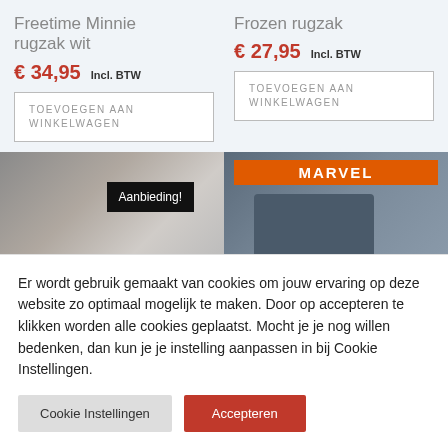Freetime Minnie rugzak wit
€ 34,95 Incl. BTW
TOEVOEGEN AAN WINKELWAGEN
Frozen rugzak
€ 27,95 Incl. BTW
TOEVOEGEN AAN WINKELWAGEN
[Figure (photo): Left product image with Aanbieding! badge overlay]
[Figure (photo): Right product image showing Marvel branded backpack with orange Marvel banner]
Er wordt gebruik gemaakt van cookies om jouw ervaring op deze website zo optimaal mogelijk te maken. Door op accepteren te klikken worden alle cookies geplaatst. Mocht je je nog willen bedenken, dan kun je je instelling aanpassen in bij Cookie Instellingen.
Cookie Instellingen
Accepteren